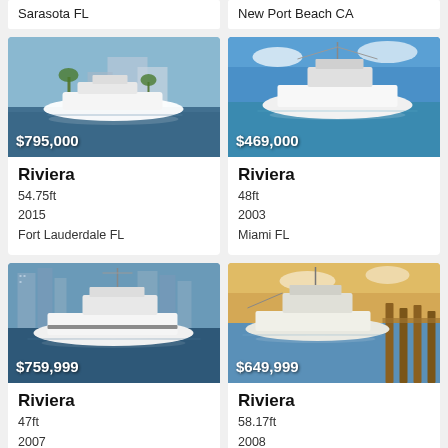Sarasota FL
New Port Beach CA
[Figure (photo): White yacht docked along a waterway with palm trees and buildings in background, price overlay $795,000]
Riviera
54.75ft
2015
Fort Lauderdale FL
[Figure (photo): White sport fishing boat on blue water at marina, price overlay $469,000]
Riviera
48ft
2003
Miami FL
[Figure (photo): White sport fishing yacht on water with skyscrapers in background, price overlay $759,999]
Riviera
47ft
2007
[Figure (photo): Fishing boat docked at marina with wooden pilings, price overlay $649,999]
Riviera
58.17ft
2008